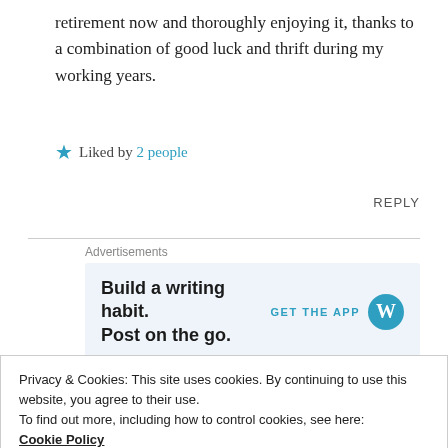retirement now and thoroughly enjoying it, thanks to a combination of good luck and thrift during my working years.
★ Liked by 2 people
REPLY
Advertisements
Build a writing habit. Post on the go. GET THE APP
Privacy & Cookies: This site uses cookies. By continuing to use this website, you agree to their use.
To find out more, including how to control cookies, see here:
Cookie Policy
Close and accept
Hey Frank. That word 'thrift', I don't hear it much